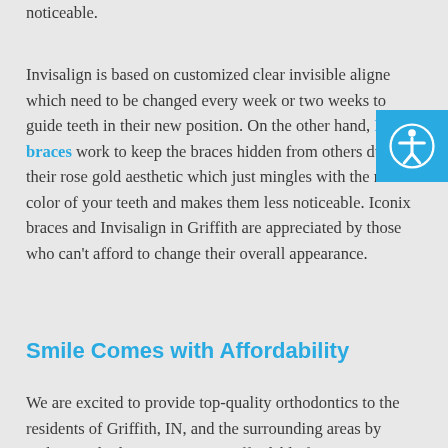noticeable.
Invisalign is based on customized clear invisible aligners which need to be changed every week or two weeks to guide teeth in their new position. On the other hand, Iconix braces work to keep the braces hidden from others due to their rose gold aesthetic which just mingles with the natural color of your teeth and makes them less noticeable. Iconix braces and Invisalign in Griffith are appreciated by those who can't afford to change their overall appearance.
Smile Comes with Affordability
We are excited to provide top-quality orthodontics to the residents of Griffith, IN, and the surrounding areas by making orthodontic treatments affordable for everyone. We accept